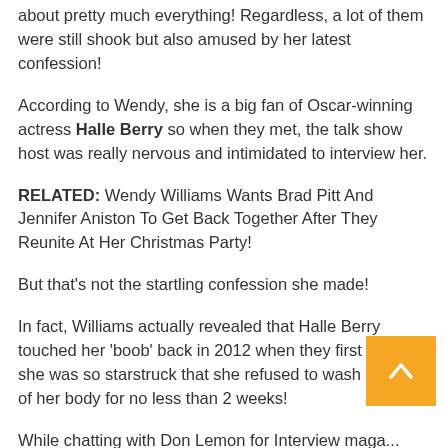about pretty much everything! Regardless, a lot of them were still shook but also amused by her latest confession!
According to Wendy, she is a big fan of Oscar-winning actress Halle Berry so when they met, the talk show host was really nervous and intimidated to interview her.
RELATED: Wendy Williams Wants Brad Pitt And Jennifer Aniston To Get Back Together After They Reunite At Her Christmas Party!
But that's not the startling confession she made!
In fact, Williams actually revealed that Halle Berry touched her 'boob' back in 2012 when they first met and she was so starstruck that she refused to wash that part of her body for no less than 2 weeks!
While chatting with Don Lemon for Interview maga... Wendy recalled the whole experience, starting by telling Don that she was really nervous to meet and talk to